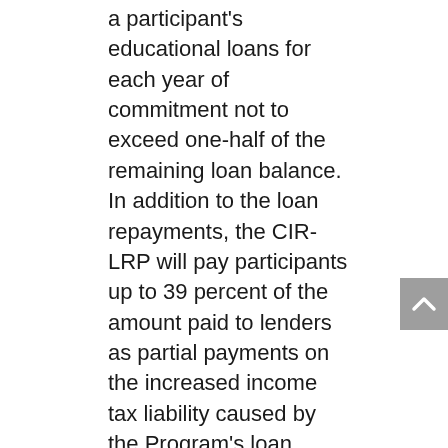a participant's educational loans for each year of commitment not to exceed one-half of the remaining loan balance. In addition to the loan repayments, the CIR-LRP will pay participants up to 39 percent of the amount paid to lenders as partial payments on the increased income tax liability caused by the Program's loan repayments. In return for these loan repayments, applicants must agree to commit to a period of obligated service of not less than 2 years conducting research with respect to contraception and/or infertility. The long-range objective of the CIR-LRP is to stimulate the commitment of researchers to sustaining a career focus on contraception and/or infertility research